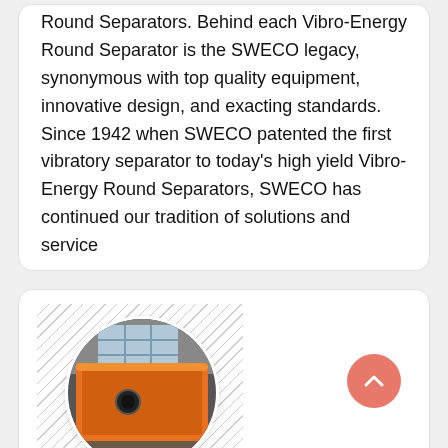Round Separators. Behind each Vibro-Energy Round Separator is the SWECO legacy, synonymous with top quality equipment, innovative design, and exacting standards. Since 1942 when SWECO patented the first vibratory separator to today's high yield Vibro-Energy Round Separators, SWECO has continued our tradition of solutions and service
[Figure (photo): Circular cropped photo of an orange industrial thickener machine in a warehouse setting, with a hatched diagonal pattern background on the left side of the card.]
4 Aspects Of Thickener Daily Maintenance In ...
Jan 24, 2020 Thickener is the common mineral processing equipment in mineral processing plant.